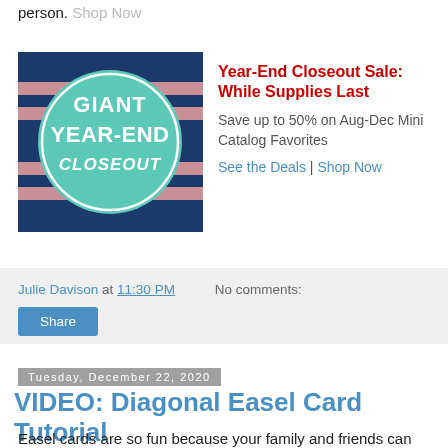person. Shop Now
[Figure (illustration): Giant Year-End Closeout promotional banner with teal circle on dark blue striped background with pink stripes]
Year-End Closeout Sale: While Supplies Last
Save up to 50% on Aug-Dec Mini Catalog Favorites
See the Deals | Shop Now
Julie Davison at 11:30 PM   No comments:
Share
Tuesday, December 22, 2020
VIDEO: Diagonal Easel Card Tutorial
Easel cards are so fun because your family and friends can easily display your stamped art after they receive your card. The Diagonal Easel Card is a fun twist on the traditional